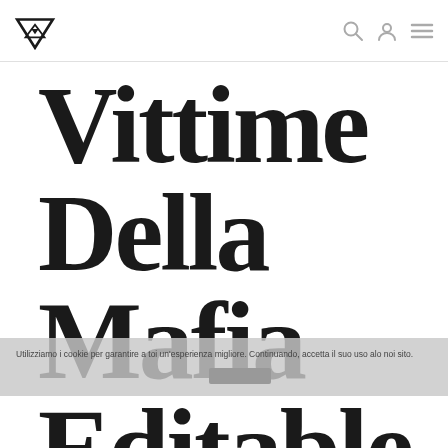Navigation bar with logo and icons
Vittime Della Mafia Editable 01
Utilizziamo i cookie per garantire a toi un'esperienza migliore. Continuando, accetta il suo uso alo noi sito.